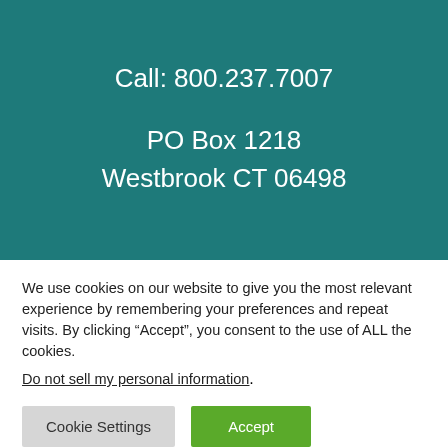Call: 800.237.7007
PO Box 1218
Westbrook CT 06498
We use cookies on our website to give you the most relevant experience by remembering your preferences and repeat visits. By clicking “Accept”, you consent to the use of ALL the cookies.
Do not sell my personal information.
Cookie Settings
Accept